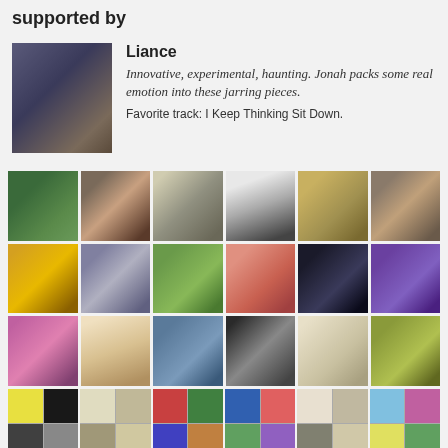supported by
[Figure (photo): Profile photo of reviewer Liance - person sitting indoors]
Liance
Innovative, experimental, haunting. Jonah packs some real emotion into these jarring pieces.
Favorite track: I Keep Thinking Sit Down.
[Figure (photo): Grid of supporter profile photos and album artwork thumbnails]